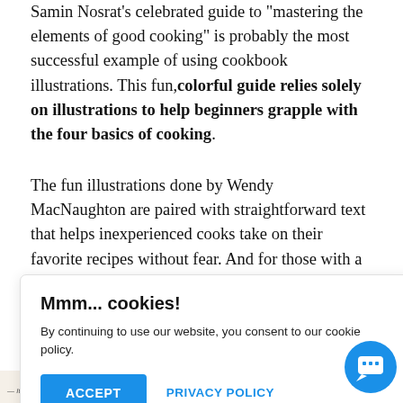Samin Nosrat's celebrated guide to "mastering the elements of good cooking" is probably the most successful example of using cookbook illustrations. This fun, colorful guide relies solely on illustrations to help beginners grapple with the four basics of cooking.
The fun illustrations done by Wendy MacNaughton are paired with straightforward text that helps inexperienced cooks take on their favorite recipes without fear. And for those with a little more experience, this style makes a fun (and funny) read and a useful reminder of the basics.
Mmm... cookies!
By continuing to use our website, you consent to our cookie policy.
ACCEPT   PRIVACY POLICY
[Figure (screenshot): Partially visible book cover showing text 'AGAIN' in red and other partially visible text. A blue circular scroll-up arrow button overlaps the image. A blue chat bubble button is visible in the lower right.]